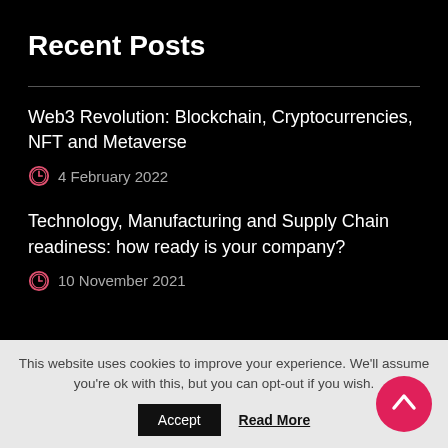Recent Posts
Web3 Revolution: Blockchain, Cryptocurrencies, NFT and Metaverse
4 February 2022
Technology, Manufacturing and Supply Chain readiness: how ready is your company?
10 November 2021
This website uses cookies to improve your experience. We'll assume you're ok with this, but you can opt-out if you wish.
Accept   Read More